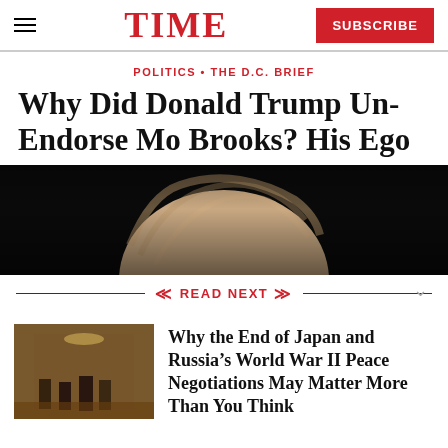TIME — SUBSCRIBE
POLITICS • THE D.C. BRIEF
Why Did Donald Trump Un-Endorse Mo Brooks? His Ego
[Figure (photo): Close-up photo of the back/top of Donald Trump's head against a dark background]
READ NEXT
[Figure (photo): Thumbnail photo of people in a formal room with chandelier]
Why the End of Japan and Russia's World War II Peace Negotiations May Matter More Than You Think